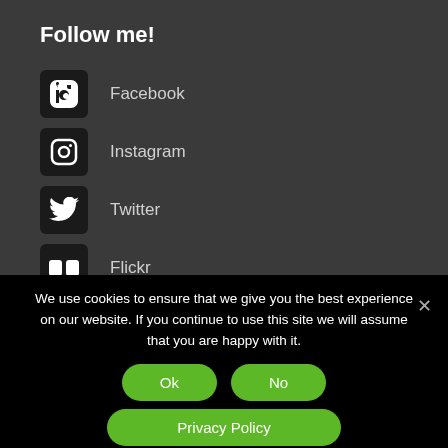Follow me!
Facebook
Instagram
Twitter
Flickr
YouTube
Pinterest
We use cookies to ensure that we give you the best experience on our website. If you continue to use this site we will assume that you are happy with it.
Ok
No
Privacy Policy